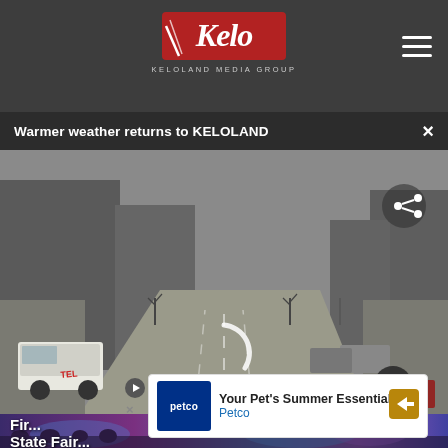KELOLAND Media Group
Warmer weather returns to KELOLAND
[Figure (screenshot): Traffic camera view of a downtown street in winter, showing a wide road with a white van parked on the left, buildings on sides, bare trees, overcast sky. Kelo logo watermark at bottom right. Share icon at top right.]
[Figure (photo): Partial view of a crowded event scene with colorful lights, partially obscured by ad overlay.]
Fire ... State Fairgrounds ...
[Figure (other): Advertisement banner: Your Pet's Summer Essentials - Petco, with Petco logo and arrow icon]